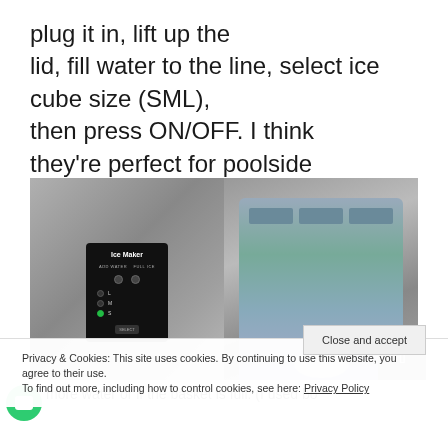plug it in, lift up the lid, fill water to the line, select ice cube size (SML), then press ON/OFF. I think they're perfect for poolside entertaining or if you have a mini-bar.
[Figure (photo): Two-panel photo of an ice maker: left panel shows the Ice Maker control panel with 'ADD WATER' and 'FULL ICE' indicators and L/M/S size selector with green S light active; right panel shows the interior tray/basket of the ice maker with dividers and an oval-shaped ice collection basket.]
Privacy & Cookies: This site uses cookies. By continuing to use this website, you agree to their use.
To find out more, including how to control cookies, see here: Privacy Policy
Close and accept
more water or if the basket is full. (I used bo